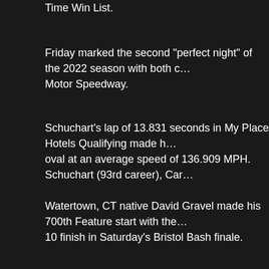Time Win List.
Friday marked the second "perfect night" of the 2022 season with both c… Motor Speedway.
Schuchart's lap of 13.831 seconds in My Place Hotels Qualifying made h… oval at an average speed of 136.909 MPH. Schuchart (93rd career), Car…
Watertown, CT native David Gravel made his 700th Feature start with the… 10 finish in Saturday's Bristol Bash finale.
UP NEXT (Sat) - The Bristol Bash concludes tomorrow, Saturday, April 2… World of Outlaws CASE Construction Equipment Late Model Series. An… TICKETS HERE, or watch every lap LIVE on DIRTVision.
NOS Energy Drink Feature Results (25 Laps) - 1. 1S-Logan Schuchart [1… [$5,000]; 5. 2-David Gravel [6][$4,500]; 6. 17-Sheldon Haudenschild [8][$… 10. 49-Brad Sweet [10][$2,600]; 11. 83JR-Kerry Madsen [12][$2,500]; 12… 15-Donny Schatz [16][$2,100]; 16. 1A-Jacob Allen [13][$2,000]; 17. 20G-… [23][$2,000]; 21. 1M-Landon Myers [20][$2,000]; 22. 3MF-Matt Frisbie [2… Logan Schuchart 2-25. KSE Hard Charger Award: 7S-Jason Sides[+3]
NEW Championship Standings (After 16/81 Races): 1. Brad Sweet (2,24… 6. James McFadden (-144); 7. Donny Schatz (-152); 8. Spencer Baystom…